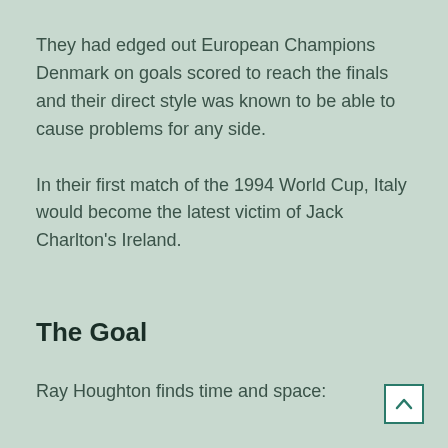They had edged out European Champions Denmark on goals scored to reach the finals and their direct style was known to be able to cause problems for any side.
In their first match of the 1994 World Cup, Italy would become the latest victim of Jack Charlton's Ireland.
The Goal
Ray Houghton finds time and space: